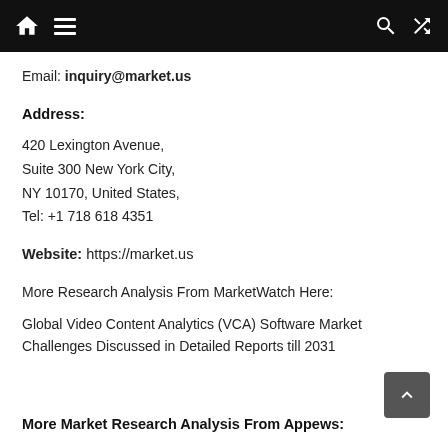[Navigation bar with home, menu, search, and shuffle icons]
Email: inquiry@market.us
Address:
420 Lexington Avenue,
Suite 300 New York City,
NY 10170, United States,
Tel: +1 718 618 4351
Website: https://market.us
More Research Analysis From MarketWatch Here:
Global Video Content Analytics (VCA) Software Market Challenges Discussed in Detailed Reports till 2031
More Market Research Analysis From Appews: